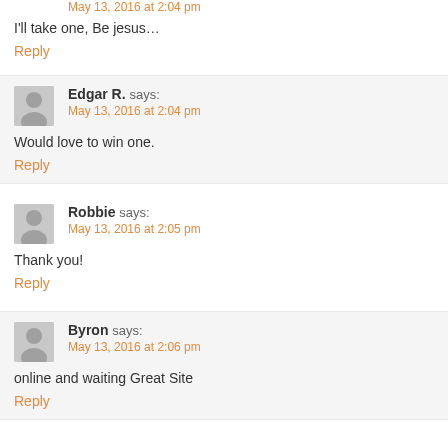May 13, 2016 at 2:04 pm
I'll take one, Be jesus…
Reply
Edgar R. says:
May 13, 2016 at 2:04 pm
Would love to win one.
Reply
Robbie says:
May 13, 2016 at 2:05 pm
Thank you!
Reply
Byron says:
May 13, 2016 at 2:06 pm
online and waiting Great Site
Reply